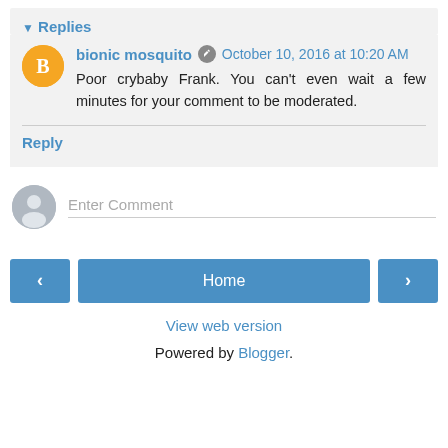▾ Replies
bionic mosquito  October 10, 2016 at 10:20 AM
Poor crybaby Frank. You can't even wait a few minutes for your comment to be moderated.
Reply
Enter Comment
Home
View web version
Powered by Blogger.